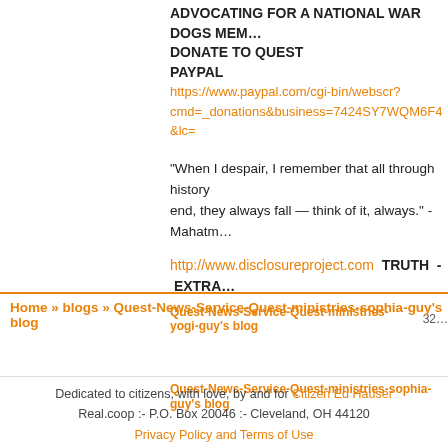ADVOCATING FOR A NATIONAL WAR DOGS MEM…
DONATE TO QUEST
PAYPAL
https://www.paypal.com/cgi-bin/webscr?cmd=_donations&business=7424SY7WQM6F4&lc=…
"When I despair, I remember that all through history the way of truth and love have always won. There have been tyrants and murderers and for a time they can seem invincible but in the end, they always fall — think of it, always." - Mahatma Gandhi
http://www.disclosureproject.com  TRUTH  -  EXTRA…
Quest-News-Service-Quest-ministries-yogi-guy's blog   32…
Quest-News-Service-Quest-ministries-sophia-guy's blog
Home » blogs » Quest-News-Service-Quest-ministries-sophia-guy's blog
Dedicated to citizens, with love, by and for Citizen Ed Hauser
Real.coop :- P.O. Box 20046 :- Cleveland, OH 44120
Privacy Policy and Terms of Use